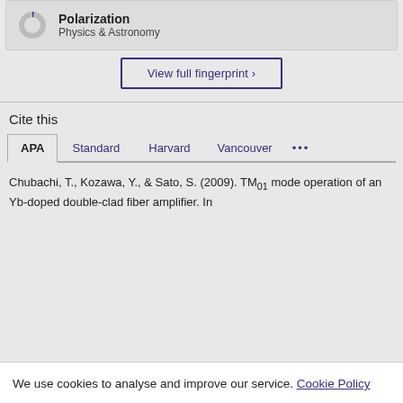[Figure (donut-chart): Partial donut/circle chart icon showing roughly 7% fill, dark purple segment, grey background circle]
Polarization
Physics & Astronomy
View full fingerprint >
Cite this
APA  Standard  Harvard  Vancouver  ...
Chubachi, T., Kozawa, Y., & Sato, S. (2009). TM01 mode operation of an Yb-doped double-clad fiber amplifier. In
We use cookies to analyse and improve our service. Cookie Policy